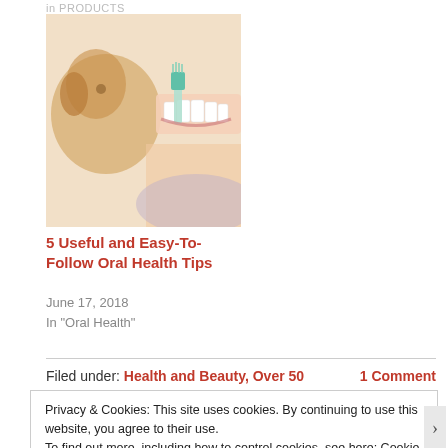in PRODUCTS
[Figure (photo): Close-up photo of a person brushing teeth with an electric toothbrush, with a dog visible in the background]
5 Useful and Easy-To-Follow Oral Health Tips
June 17, 2018
In "Oral Health"
Filed under: Health and Beauty, Over 50    1 Comment
Privacy & Cookies: This site uses cookies. By continuing to use this website, you agree to their use.
To find out more, including how to control cookies, see here: Cookie Policy